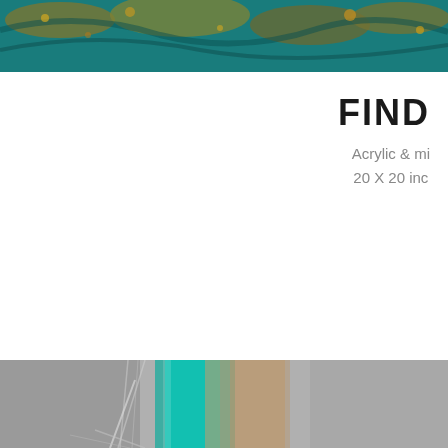[Figure (photo): Abstract painting detail with teal/turquoise and gold textured paint, cropped at top of page]
FIND
Acrylic & mi
20 X 20 inc
[Figure (photo): Abstract painting with turquoise/teal vertical brush strokes on silver-grey textured canvas background, lower portion of page]